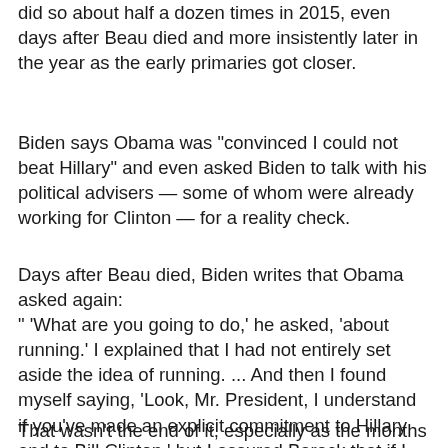did so about half a dozen times in 2015, even days after Beau died and more insistently later in the year as the early primaries got closer.
Biden says Obama was "convinced I could not beat Hillary" and even asked Biden to talk with his political advisers — some of whom were already working for Clinton — for a reality check.
Days after Beau died, Biden writes that Obama asked again:
" 'What are you going to do,' he asked, 'about running.' I explained that I had not entirely set aside the idea of running. ... And then I found myself saying, 'Look, Mr. President, I understand if you've made an explicit commitment to Hillary and to Bill Clinton,' but I assured Barack that if I decide to run I would engage Hillary on our policy differences only and not on questions of character or personality that might weaken her if she won the nomination. 'I promise you,' I said. And we left it at that."
That wasn't the end of it, especially as the months wore on,